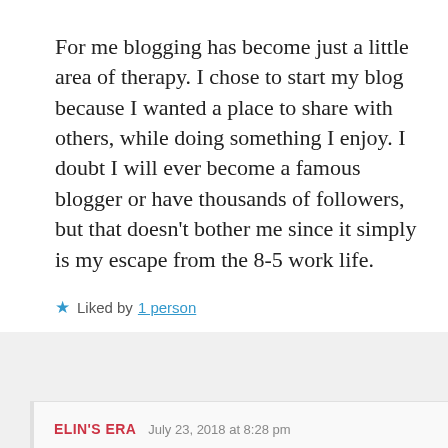For me blogging has become just a little area of therapy. I chose to start my blog because I wanted a place to share with others, while doing something I enjoy. I doubt I will ever become a famous blogger or have thousands of followers, but that doesn't bother me since it simply is my escape from the 8-5 work life.
★ Liked by 1 person
ELIN'S ERA   July 23, 2018 at 8:28 pm